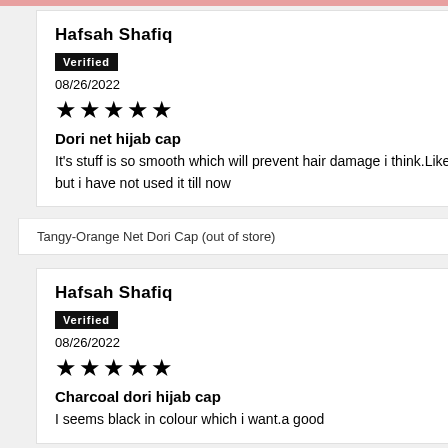Hafsah Shafiq
Verified
08/26/2022
★★★★★
Dori net hijab cap
It's stuff is so smooth which will prevent hair damage i think.Like it but i have not used it till now
Tangy-Orange Net Dori Cap (out of store)
Hafsah Shafiq
Verified
08/26/2022
★★★★★
Charcoal dori hijab cap
I seems black in colour which i want.a good